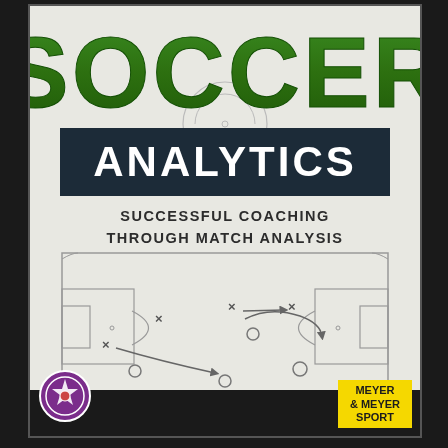SOCCER
ANALYTICS
SUCCESSFUL COACHING THROUGH MATCH ANALYSIS
[Figure (illustration): Soccer field tactical diagram showing half-pitch layout with player positions marked as X and O symbols, arrows indicating movement patterns, penalty area and center circle outlined]
[Figure (logo): Circular soccer badge/emblem logo in bottom left]
MEYER & MEYER SPORT